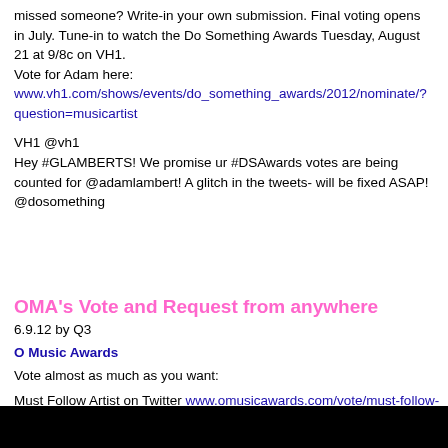missed someone? Write-in your own submission. Final voting opens in July. Tune-in to watch the Do Something Awards Tuesday, August 21 at 9/8c on VH1.
Vote for Adam here:
www.vh1.com/shows/events/do_something_awards/2012/nominate/?question=musicartist
VH1 @vh1
Hey #GLAMBERTS! We promise ur #DSAwards votes are being counted for @adamlambert! A glitch in the tweets- will be fixed ASAP! @dosomething
OMA's Vote and Request from anywhere
6.9.12 by Q3
O Music Awards
Vote almost as much as you want:
Must Follow Artist on Twitter www.omusicawards.com/vote/must-follow-artist-on-twitter